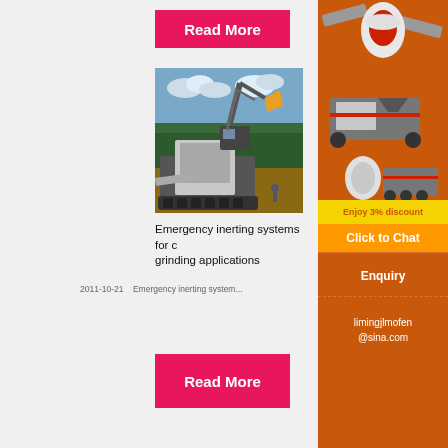Read More
[Figure (photo): Heavy construction/mining machinery – excavator and crusher on site in forest clearing]
Emergency inerting systems for c... grinding applications
2011-10-21    Emergency inerting system...
Read More
[Figure (photo): Sidebar advertisement showing industrial crushing/grinding machinery on orange background with 'Enjoy 3% discount', 'Click to Chat', 'Enquiry', and 'limingjlmofen@sina.com']